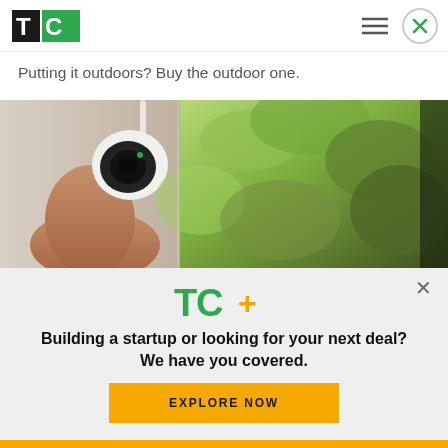TechCrunch navigation header with TC logo, hamburger menu, and close button
Putting it outdoors? Buy the outdoor one.
[Figure (photo): A hand mounting a white outdoor security camera on a wall, with green foliage visible in the background]
[Figure (infographic): TechCrunch TC+ subscription popup overlay with TC+ logo, headline, and Explore Now button]
Building a startup or looking for your next deal? We have you covered.
EXPLORE NOW